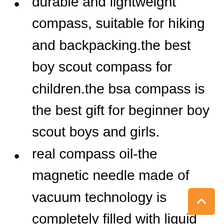durable and lightweight compass, suitable for hiking and backpacking.the best boy scout compass for children.the bsa compass is the best gift for beginner boy scout boys and girls.
real compass oil-the magnetic needle made of vacuum technology is completely filled with liquid oil.the vertical and simple compass is very suitable for men's and children's navigation, orientation and